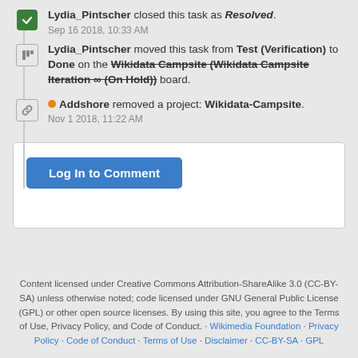Lydia_Pintscher closed this task as Resolved. Sep 16 2018, 10:33 AM
Lydia_Pintscher moved this task from Test (Verification) to Done on the Wikidata Campsite (Wikidata Campsite Iteration ∞ (On Hold)) board.
Addshore removed a project: Wikidata-Campsite. Nov 1 2018, 11:22 AM
Log In to Comment
Content licensed under Creative Commons Attribution-ShareAlike 3.0 (CC-BY-SA) unless otherwise noted; code licensed under GNU General Public License (GPL) or other open source licenses. By using this site, you agree to the Terms of Use, Privacy Policy, and Code of Conduct. · Wikimedia Foundation · Privacy Policy · Code of Conduct · Terms of Use · Disclaimer · CC-BY-SA · GPL